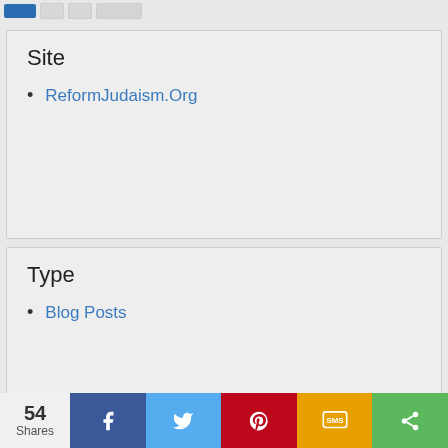[Navigation bar with buttons]
Site
ReformJudaism.Org
Type
Blog Posts
54 Shares | Facebook | Twitter | Pinterest | SMS | Share